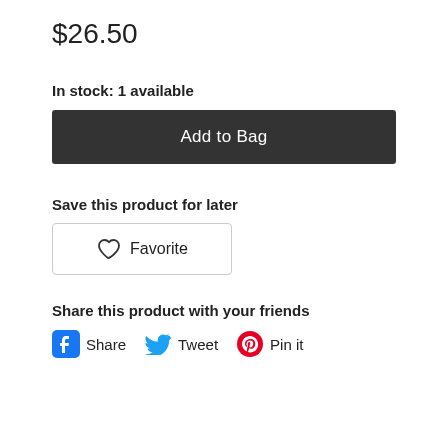$26.50
In stock: 1 available
Add to Bag
Save this product for later
Favorite
Share this product with your friends
Share  Tweet  Pin it